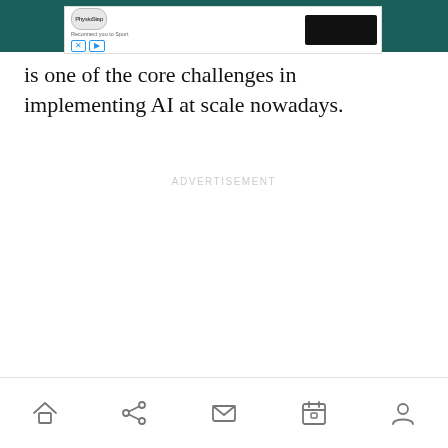[Figure (screenshot): Mobile app advertisement banner at the top of the page showing PhysioStep logo with tagline, close and play buttons, and a black image box on the right, against a teal/dark green top bar background.]
is one of the core challenges in implementing AI at scale nowadays.
ADVERTISEMENT
[Figure (screenshot): Mobile navigation bar at the bottom with five icons: home, share, mail, calendar, and person/profile.]